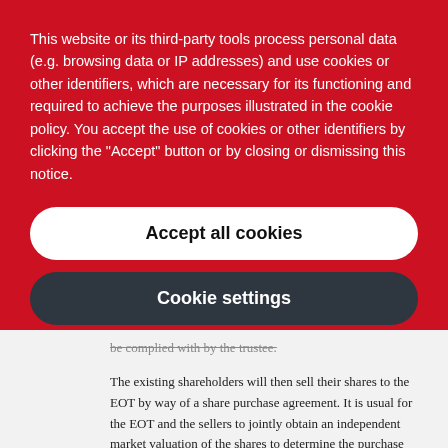This website or its third-party tools process personal data (e.g. browsing data or IP addresses) and use cookies or other identifiers, which are necessary for its functioning and required to achieve the purposes illustrated in the cookie policy. You accept the use of cookies or other identifiers by clicking the "Accept" button or by closing or dismissing this notice.
Accept all cookies
Cookie settings
be complied with by the trustee.
The existing shareholders will then sell their shares to the EOT by way of a share purchase agreement. It is usual for the EOT and the sellers to jointly obtain an independent market valuation of the shares to determine the purchase price for the shares. The selling shareholders will usually sell their shares on